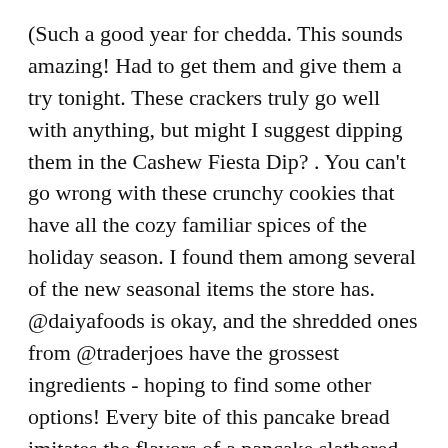(Such a good year for chedda. This sounds amazing! Had to get them and give them a try tonight. These crackers truly go well with anything, but might I suggest dipping them in the Cashew Fiesta Dip? . You can't go wrong with these crunchy cookies that have all the cozy familiar spices of the holiday season. I found them among several of the new seasonal items the store has. @daiyafoods is okay, and the shredded ones from @traderjoes have the grossest ingredients - hoping to find some other options! Every bite of this pancake bread imitates the flavors of a pancake slathered in maple syrup and butter. Hayley Kiyoko Had Some...Unique Childhood Crushes, On the End of â Keeping Up With the Kardashiansâ